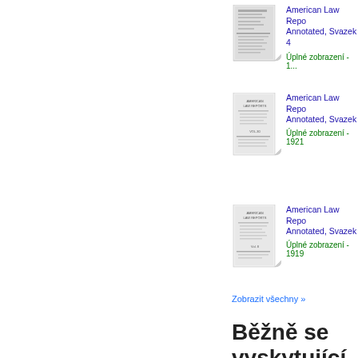[Figure (illustration): Thumbnail cover image of American Law Reports Annotated book 1]
American Law Reports Annotated, Svazek 4
Úplné zobrazení - 1...
[Figure (illustration): Thumbnail cover image of American Law Reports Annotated book 2]
American Law Reports Annotated, Svazek...
Úplné zobrazení - 1921
[Figure (illustration): Thumbnail cover image of American Law Reports Annotated book 3]
American Law Reports Annotated, Svazek...
Úplné zobrazení - 1919
Zobrazit všechny »
Běžně se vyskytující výrazy a sousloví